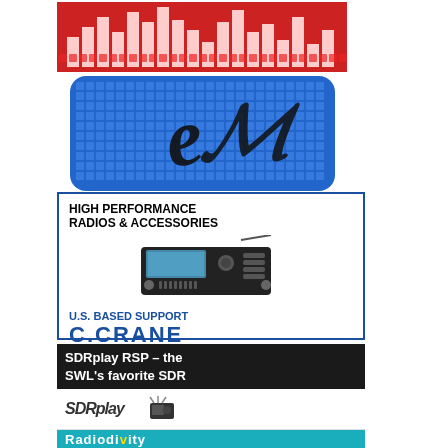[Figure (logo): ELAD SDR logo — red spectrum analyzer bars graphic at top, blue grid square logo with cursive E in center, text ELAD SDR below]
[Figure (infographic): C.Crane advertisement — HIGH PERFORMANCE RADIOS & ACCESSORIES headline, image of portable radio, U.S. BASED SUPPORT text, C.CRANE logo in blue]
[Figure (infographic): SDRplay RSP advertisement — dark background with text 'SDRplay RSP – the SWL's favorite SDR', SDRplay logo and product image, press play to see why with green PLAY! button]
[Figure (logo): Radiosity partial banner in teal/cyan color at bottom, partially visible]